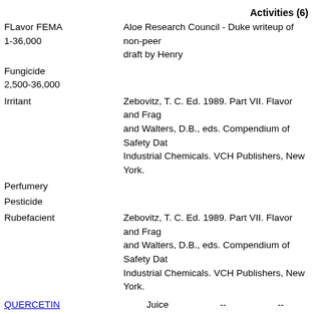Activities (6)
FLavor FEMA 1-36,000
Aloe Research Council - Duke writeup of non-peer draft by Henry
Fungicide 2,500-36,000
Irritant
Zebovitz, T. C. Ed. 1989. Part VII. Flavor and Frag and Walters, D.B., eds. Compendium of Safety Dat Industrial Chemicals. VCH Publishers, New York.
Perfumery
Pesticide
Rubefacient
Zebovitz, T. C. Ed. 1989. Part VII. Flavor and Frag and Walters, D.B., eds. Compendium of Safety Dat Industrial Chemicals. VCH Publishers, New York.
QUERCETIN   Juice   --   --
Activities (176)
11B-HSD-Inhibitor
5-Lipoxygenase-Inhibitor IC50 (uM)=4
ATPase-Inhibitor
Nigg, H.N. and Seigler, D.S., eds. 1992. Medicine and Agriculture. Plenum Press.